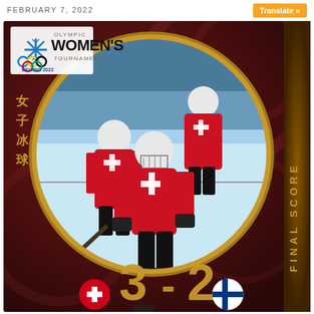FEBRUARY 7, 2022
Translate »
[Figure (photo): Olympic Women's Ice Hockey Tournament final score graphic. Beijing 2022 logo top left. Three Swiss women hockey players in red uniforms skating on ice, inside a gold circular frame on a dark red background. Score shown: Switzerland 3, Finland 2. Chinese characters 女子冰球 on left side. FINAL SCORE text vertical on right side.]